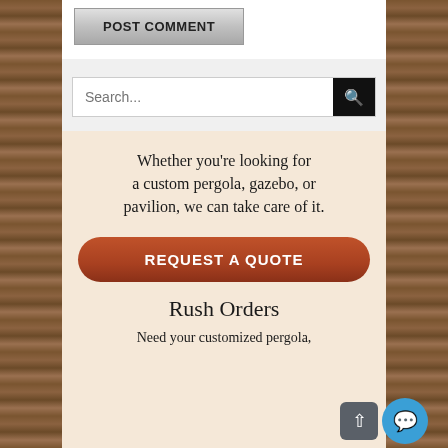[Figure (screenshot): POST COMMENT button — gray gradient button with bold uppercase text]
[Figure (screenshot): Search bar with placeholder text 'Search...' and black search icon button on the right]
Whether you're looking for a custom pergola, gazebo, or pavilion, we can take care of it.
[Figure (screenshot): Orange rounded CTA button with text 'REQUEST A QUOTE']
Rush Orders
Need your customized pergola,